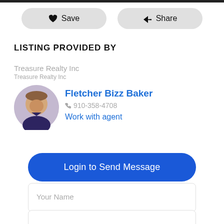[Figure (screenshot): Top navigation bar (dark strip)]
♥ Save
➤ Share
LISTING PROVIDED BY
Treasure Realty Inc
Treasure Realty Inc
[Figure (photo): Headshot photo of agent Fletcher Bizz Baker, a middle-aged man in a dark polo shirt, circular crop]
Fletcher Bizz Baker
☎ 910-358-4708
Work with agent
Login to Send Message
Your Name